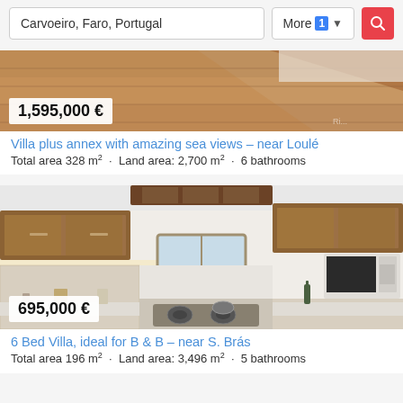Carvoeiro, Faro, Portugal  More 1  [search]
[Figure (photo): Aerial or rooftop view of a tiled roof surface, warm terracotta tones, with a white wall visible]
1,595,000 €
Villa plus annex with amazing sea views – near Loulé
Total area 328 m²  ·  Land area: 2,700 m²  ·  6 bathrooms
[Figure (photo): Interior kitchen of a villa showing wooden cabinets, tiled counters, gas hob, microwave, and a small window]
695,000 €
6 Bed Villa, ideal for B & B – near S. Brás
Total area 196 m²  ·  Land area: 3,496 m²  ·  5 bathrooms